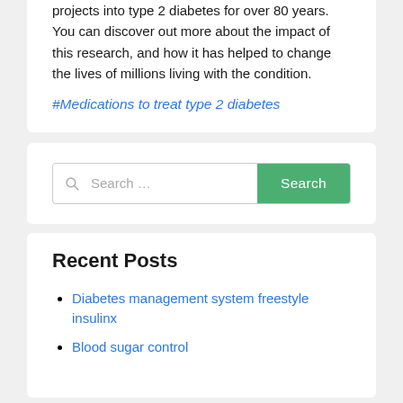projects into type 2 diabetes for over 80 years. You can discover out more about the impact of this research, and how it has helped to change the lives of millions living with the condition.
#Medications to treat type 2 diabetes
[Figure (other): Search bar with text input placeholder 'Search ...' and a green 'Search' button]
Recent Posts
Diabetes management system freestyle insulinx
Blood sugar control